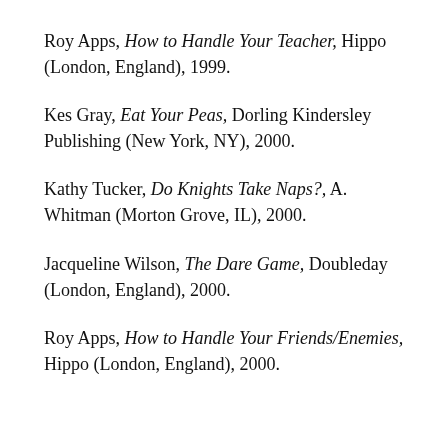Roy Apps, How to Handle Your Teacher, Hippo (London, England), 1999.
Kes Gray, Eat Your Peas, Dorling Kindersley Publishing (New York, NY), 2000.
Kathy Tucker, Do Knights Take Naps?, A. Whitman (Morton Grove, IL), 2000.
Jacqueline Wilson, The Dare Game, Doubleday (London, England), 2000.
Roy Apps, How to Handle Your Friends/Enemies, Hippo (London, England), 2000.